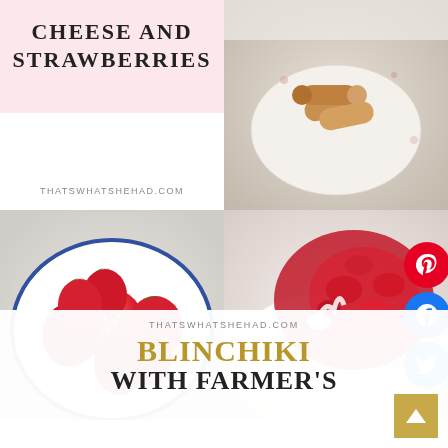[Figure (photo): Pink promotional card with text: CHEESE AND STRAWBERRIES, thatswhatshehad.com]
[Figure (photo): Photo of rolled crepes/blinchiki on a white floral plate]
[Figure (photo): Overhead photo of fresh red strawberries in a white bowl with blue rim]
[Figure (photo): Close-up of cottage cheese topped with strawberry sauce/compote, with Pinterest, Facebook, Twitter social share buttons on the right]
THATSWHATSHEHAD.COM
BLINCHIKI WITH FARMER'S